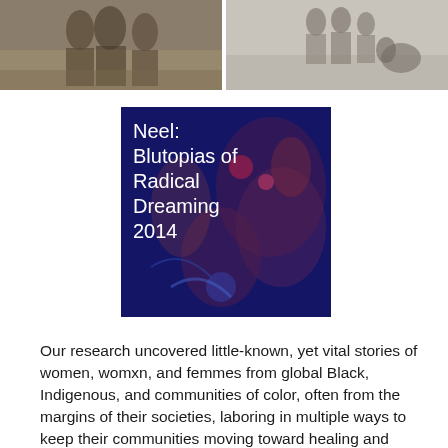[Figure (photo): Grayscale/sepia photograph of figures in robes or traditional garments, left panel]
[Figure (photo): Grayscale photograph of figures seated or grouped, right panel]
[Figure (illustration): Dark blue square artwork with figures, overlaid with text 'Neel: Blutopias of Radical Dreaming 2014']
Our research uncovered little-known, yet vital stories of women, womxn, and femmes from global Black, Indigenous, and communities of color, often from the margins of their societies, laboring in multiple ways to keep their communities moving toward healing and vibrancy.